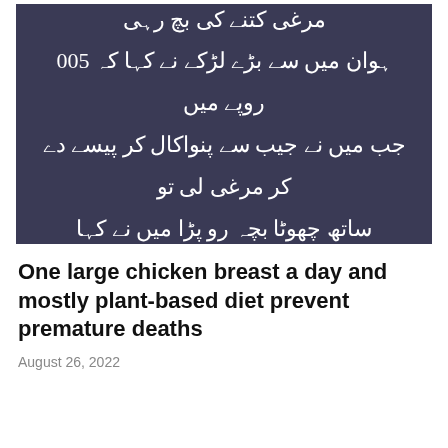[Figure (photo): Dark purple/navy background image with Urdu text in white Nastaliq script describing a story about a chicken and children]
One large chicken breast a day and mostly plant-based diet prevent premature deaths
August 26, 2022